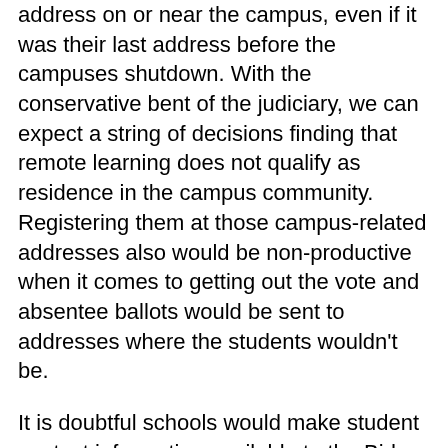There will be legal challenges if they try to vote at an address on or near the campus, even if it was their last address before the campuses shutdown. With the conservative bent of the judiciary, we can expect a string of decisions finding that remote learning does not qualify as residence in the campus community. Registering them at those campus-related addresses also would be non-productive when it comes to getting out the vote and absentee ballots would be sent to addresses where the students wouldn't be.
It is doubtful schools would make student contact information available to the Biden campaign, the Democratic Party, or anyone else, which is as it should be. So, tracking down individual students to get them registered would not be possible.
The best the Biden campaign can hope for is a state-by-state, school-by-school operation. 1) Convince the administration to blitz students with reminders to